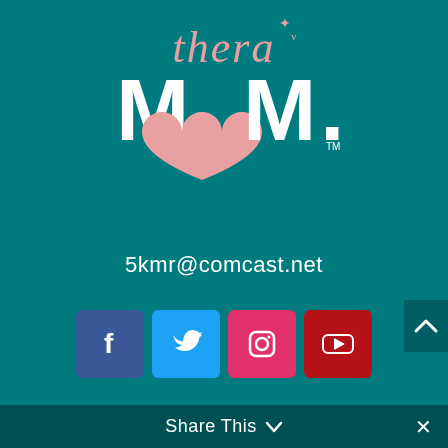[Figure (logo): TheraMom logo: cursive pink 'thera' text with small bird/butterfly above, and large bold white 'MOM.' text where the O is replaced by a pink heart, with TM mark]
5kmr@comcast.net
[Figure (infographic): Row of four social media icons: Facebook (blue-purple square), Twitter (blue square), Instagram (pink/red square), YouTube (red square)]
Share This ∨  ✕